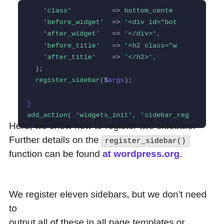[Figure (screenshot): Code block showing PHP WordPress sidebar registration code with syntax highlighting on dark background. Shows array keys 'before_widget', 'after_widget', 'before_title', 'after_title' with values, followed by register_sidebar($args); and closing brace, then add_action('widgets_init', 'sidebar_reg...]
Here, we show how to register two sidebars. Further details on the register_sidebar() function can be found at wordpress.org.
We register eleven sidebars, but we don't need to output all of these in all page templates or website